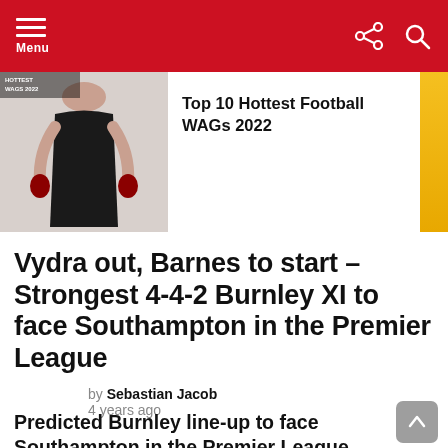Menu
[Figure (photo): Promotional thumbnail showing a fit woman with text overlay 'HOTTEST WAGS 2022']
Top 10 Hottest Football WAGs 2022
Vydra out, Barnes to start – Strongest 4-4-2 Burnley XI to face Southampton in the Premier League
by Sebastian Jacob
4 years ago
Predicted Burnley line-up to face Southampton in the Premier League